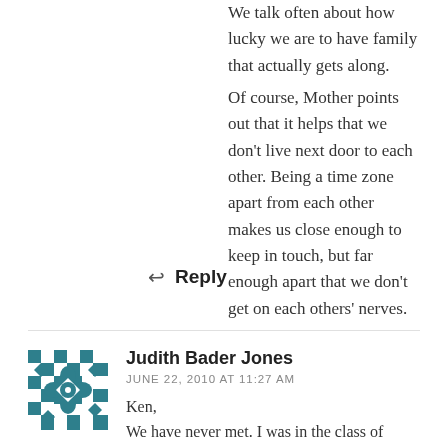We talk often about how lucky we are to have family that actually gets along.
Of course, Mother points out that it helps that we don't live next door to each other. Being a time zone apart from each other makes us close enough to keep in touch, but far enough apart that we don't get on each others' nerves.
↩ Reply
[Figure (illustration): Avatar icon with blue and white geometric/floral pattern in a checkered style]
Judith Bader Jones
JUNE 22, 2010 AT 11:27 AM
Ken,
We have never met. I was in the class of 1954, but your photographs bridge the gap. Your father would have been touched to see how you honored him with your comments and your